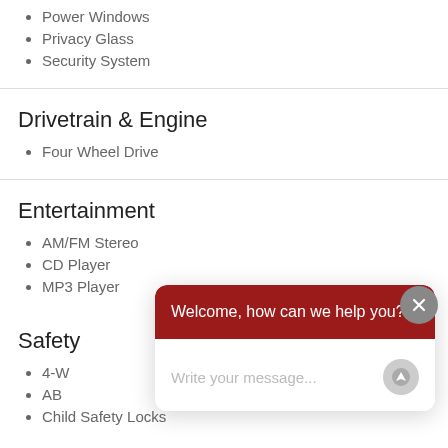Power Windows
Privacy Glass
Security System
Drivetrain & Engine
Four Wheel Drive
Entertainment
AM/FM Stereo
CD Player
MP3 Player
Safety
4-W...
AB...
Child Safety Locks
[Figure (screenshot): Chat widget overlay with dark red header saying 'Welcome, how can we help you?' and a message input area with placeholder 'Write your message...' and a send button. A gray close (X) button appears at the top right.]